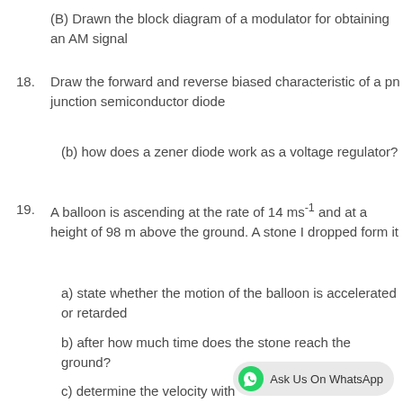(B) Drawn the block diagram of a modulator for obtaining an AM signal
18. Draw the forward and reverse biased characteristic of a pn junction semiconductor diode
(b) how does a zener diode work as a voltage regulator?
19. A balloon is ascending at the rate of 14 ms⁻¹ and at a height of 98 m above the ground. A stone I dropped form it
a) state whether the motion of the balloon is accelerated or retarded
b) after how much time does the stone reach the ground?
c) determine the velocity with